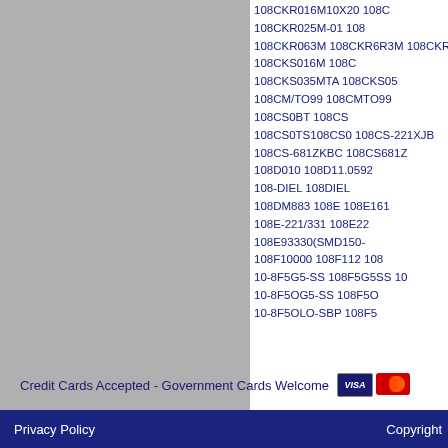108CKR016M10X20 108C 108CKR025M-01 108C 108CKR063M 108CKR6R3M 108CKR 108CKS016M 108C 108CKS035MTA 108CKS05 108CM/TO99 108CMTO99 108CS0BT 108CS 108CS0TS108CS0 108CS-221XJB 108CS-681ZKBC 108CS681Z 108D010 108D11.0592 108-DIEL 108DIEL 108DM883 108E 108E161 108E-221/331 108E22 108E93330(SMD150- 108F10000 108F112 108 10-8F5G5-SS 108F5G5SS 10 10-8F5OG5-SS 108F5O 10-8F5OLO-SBP 108F5
Credit Cards Accepted - Government Cards Welcome
Privacy Policy    Copyright